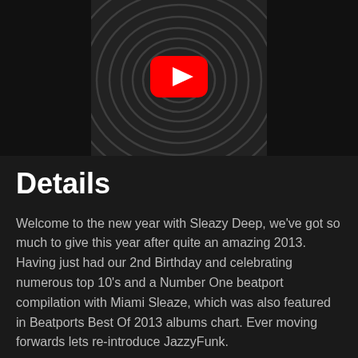[Figure (screenshot): YouTube video thumbnail showing a fingerprint pattern with YouTube play button icon overlaid, on a black background]
Details
Welcome to the new year with Sleazy Deep, we've got so much to give this year after quite an amazing 2013. Having just had our 2nd Birthday and celebrating numerous top 10's and a Number One beatport compilation with Miami Sleaze, which was also featured in Beatports Best Of 2013 albums chart. Ever moving forwards lets re-introduce JazzyFunk.
JazzyFunk is a serious underground Nu-Skool disco & deep house dj that sing & write their own vocals and will also be seen featuring on other artists tracks from Saccao, Haze-M to name a few. Here we bring you their Tomorrow It's Over